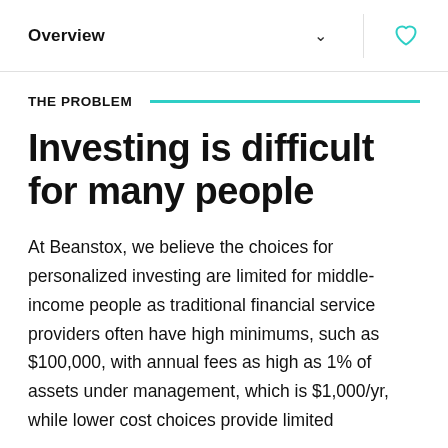Overview
THE PROBLEM
Investing is difficult for many people
At Beanstox, we believe the choices for personalized investing are limited for middle-income people as traditional financial service providers often have high minimums, such as $100,000, with annual fees as high as 1% of assets under management, which is $1,000/yr, while lower cost choices provide limited